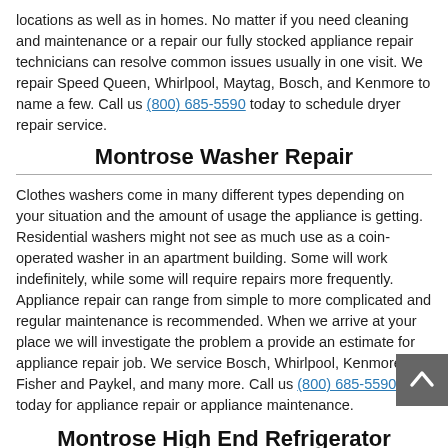locations as well as in homes. No matter if you need cleaning and maintenance or a repair our fully stocked appliance repair technicians can resolve common issues usually in one visit. We repair Speed Queen, Whirlpool, Maytag, Bosch, and Kenmore to name a few. Call us (800) 685-5590 today to schedule dryer repair service.
Montrose Washer Repair
Clothes washers come in many different types depending on your situation and the amount of usage the appliance is getting. Residential washers might not see as much use as a coin-operated washer in an apartment building. Some will work indefinitely, while some will require repairs more frequently. Appliance repair can range from simple to more complicated and regular maintenance is recommended. When we arrive at your place we will investigate the problem a provide an estimate for appliance repair job. We service Bosch, Whirlpool, Kenmore, Fisher and Paykel, and many more. Call us (800) 685-5590 today for appliance repair or appliance maintenance.
Montrose High End Refrigerator